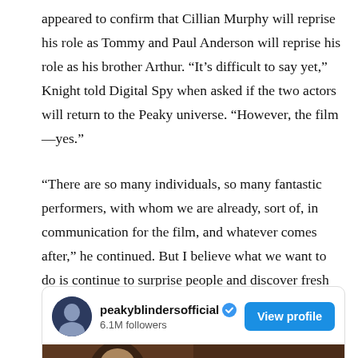appeared to confirm that Cillian Murphy will reprise his role as Tommy and Paul Anderson will reprise his role as his brother Arthur. “It’s difficult to say yet,” Knight told Digital Spy when asked if the two actors will return to the Peaky universe. “However, the film—yes.”
“There are so many individuals, so many fantastic performers, with whom we are already, sort of, in communication for the film, and whatever comes after,” he continued. But I believe what we want to do is continue to surprise people and discover fresh potential.
[Figure (screenshot): Instagram profile card for peakyblindersofficial showing verified badge, 6.1M followers, a View profile button, and a partial photo of a person.]